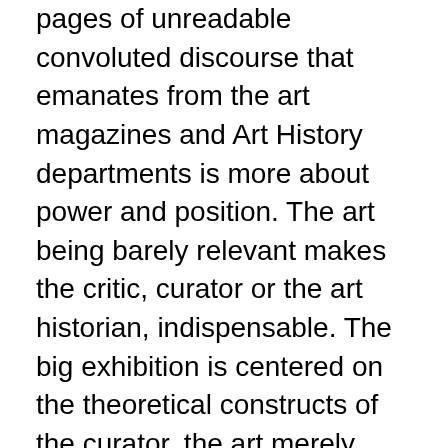pages of unreadable convoluted discourse that emanates from the art magazines and Art History departments is more about power and position. The art being barely relevant makes the critic, curator or the art historian, indispensable. The big exhibition is centered on the theoretical constructs of the curator, the art merely goes to illustrate the theory that fills the catalogue and dictates the hanging and the selection of the show. This is painting in the service of theory, or more correctly, in the service of careerism. I recently visited our local ICA, which was celebrating its twenty-fifth